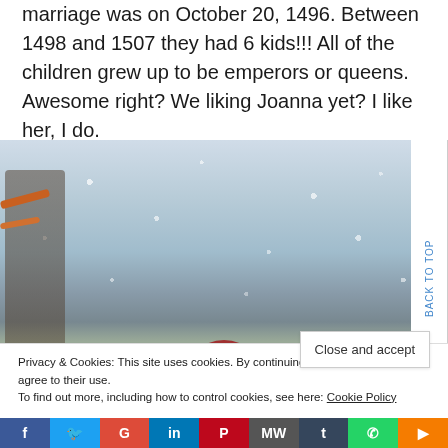marriage was on October 20, 1496. Between 1498 and 1507 they had 6 kids!!! All of the children grew up to be emperors or queens. Awesome right? We liking Joanna yet? I like her, I do.
[Figure (photo): A winter outdoor scene with snow-covered trees. A person wearing a red hat is visible in the lower center of the image.]
Privacy & Cookies: This site uses cookies. By continuing to use this website, you agree to their use.
To find out more, including how to control cookies, see here: Cookie Policy
Close and accept
BACK TO TOP